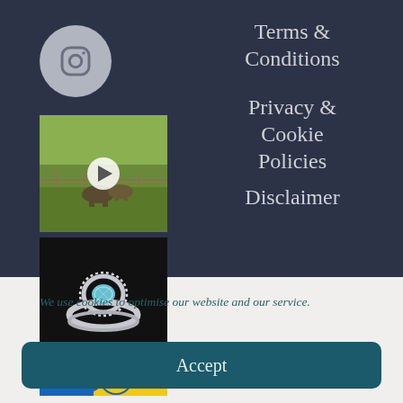[Figure (logo): Instagram icon in a light grey circle]
Terms & Conditions
[Figure (photo): Outdoor farm scene video thumbnail with a play button, showing animals on green grass]
Privacy & Cookie Policies
[Figure (photo): A silver ring with a blue gemstone on a dark background]
Disclaimer
[Figure (photo): Partially visible thumbnail with blue and yellow colors]
We use cookies to optimise our website and our service.
Accept